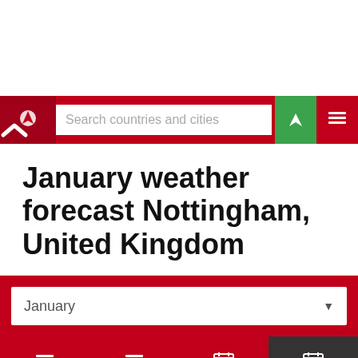[Figure (screenshot): Navigation bar with search field, location button, and menu button on red background]
January weather forecast Nottingham, United Kingdom
[Figure (screenshot): Month selector dropdown showing January with tab bar: Today, Tomorrow, 10 days, Climate (active)]